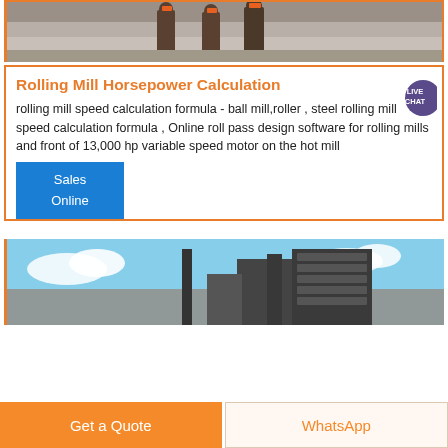[Figure (photo): Top portion of a photo showing workers in orange safety vests at an industrial site]
Rolling Mill Horsepower Calculation
[Figure (illustration): Live Chat bubble icon in purple with speech bubble tail]
rolling mill speed calculation formula - ball mill,roller , steel rolling mill speed calculation formula , Online roll pass design software for rolling mills and front of 13,000 hp variable speed motor on the hot mill
Sales Online
[Figure (photo): Industrial machinery photo showing equipment against a blue sky with clouds]
Get a Quote
WhatsApp